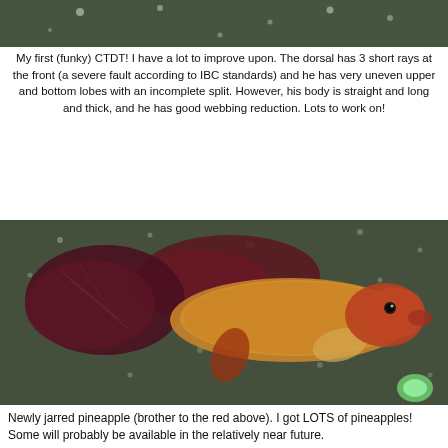[Figure (photo): Top portion of a fish tank with dark greenish water and small white dots (bubbles or particles), cropped fish photo at top of page]
My first (funky) CTDT! I have a lot to improve upon. The dorsal has 3 short rays at the front (a severe fault according to IBC standards) and he has very uneven upper and bottom lobes with an incomplete split. However, his body is straight and long and thick, and he has good webbing reduction. Lots to work on!
[Figure (photo): A betta fish (pineapple/red coloration) swimming in a tank with dark greenish water and small white dots (bubbles or particles). The fish has reddish-orange and yellow scales with dark purple-red fins.]
Newly jarred pineapple (brother to the red above). I got LOTS of pineapples! Some will probably be available in the relatively near future.